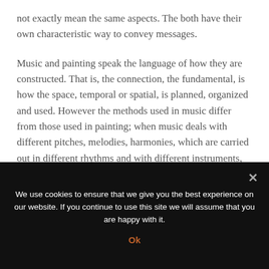not exactly mean the same aspects. The both have their own characteristic way to convey messages.
Music and painting speak the language of how they are constructed. That is, the connection, the fundamental, is how the space, temporal or spatial, is planned, organized and used. However the methods used in music differ from those used in painting; when music deals with different pitches, melodies, harmonies, which are carried out in different rhythms and with different instruments, paintings use different colours, strokes, shapes with different materials and surface sizes. (Adorno & Gillespiel
We use cookies to ensure that we give you the best experience on our website. If you continue to use this site we will assume that you are happy with it.
Ok